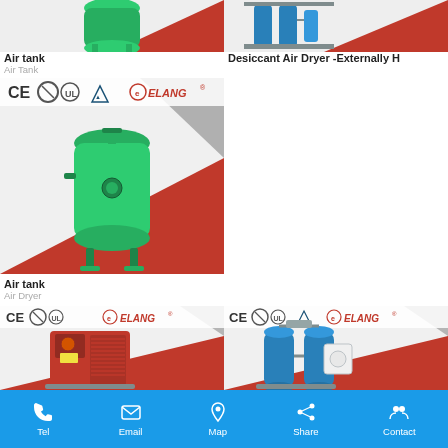[Figure (photo): Air tank product image - green cylindrical pressure vessel on red/gray background with ELANG branding (top-left, cropped top)]
[Figure (photo): Desiccant Air Dryer Externally Heated product image on red/gray background (top-right, cropped top)]
Air tank
Air Tank
[Figure (photo): Air tank product card - green vertical pressure vessel with CE, UL, TÜV certifications and ELANG logo on red/gray background]
Desiccant Air Dryer -Externally H
Air tank
Air Dryer
[Figure (photo): Air Dryer product card - red refrigerated air dryer with CE, UL certifications and ELANG logo on red/gray background]
[Figure (photo): Desiccant air dryer second card - blue twin-tower desiccant dryer with CE, UL, TÜV certifications and ELANG logo on red/gray background]
Tel  Email  Map  Share  Contact